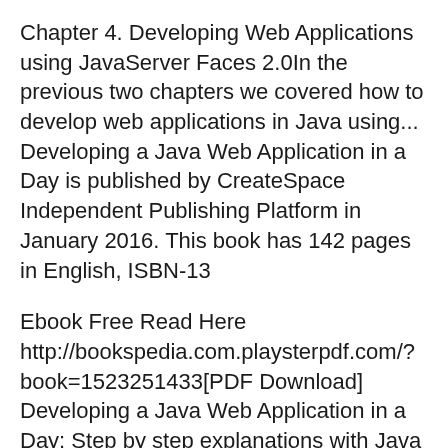Chapter 4. Developing Web Applications using JavaServer Faces 2.0In the previous two chapters we covered how to develop web applications in Java using... Developing a Java Web Application in a Day is published by CreateSpace Independent Publishing Platform in January 2016. This book has 142 pages in English, ISBN-13
Ebook Free Read Here http://bookspedia.com.playsterpdf.com/?book=1523251433[PDF Download] Developing a Java Web Application in a Day: Step by step explanations with Java Web Programming: Developing a Java Web Application in a Day : Step by Step Explanations with Eclipse Mars